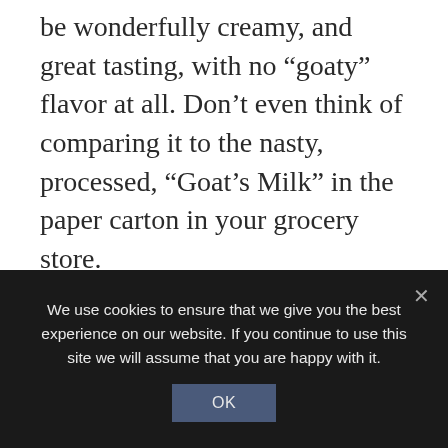be wonderfully creamy, and great tasting, with no “goaty” flavor at all. Don’t even think of comparing it to the nasty, processed, “Goat’s Milk” in the paper carton in your grocery store.
It is true that there are a few goats that have off-flavored milk. This seems to have something to do with the genetics of the individual goat. I imagine it is the same with cows. I have milked and drank
We use cookies to ensure that we give you the best experience on our website. If you continue to use this site we will assume that you are happy with it.
OK